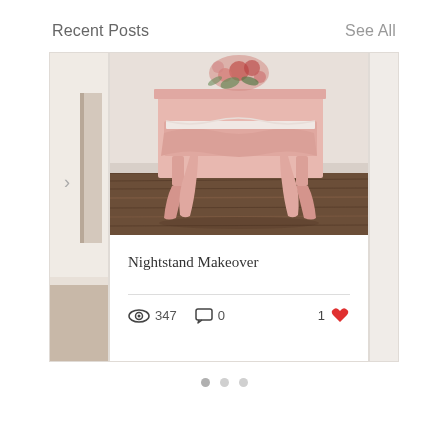Recent Posts
See All
[Figure (photo): A painted pink nightstand/dresser with floral decal on top, cabriole legs, ornate carved apron, sitting on a dark wood floor against a white wall.]
Nightstand Makeover
347 views  0 comments  1 like